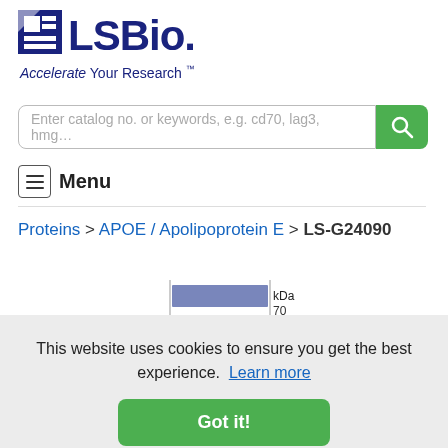[Figure (logo): LSBio logo with blue square icon and text 'LSBio' with tagline 'Accelerate Your Research']
Enter catalog no. or keywords, e.g. cd70, lag3, hmg…
Menu
Proteins > APOE / Apolipoprotein E > LS-G24090
[Figure (photo): Partial SDS-PAGE gel image showing protein bands with molecular weight markers: kDa, 70, 44, 33, 22, 18, 14, 10]
This website uses cookies to ensure you get the best experience.  Learn more
Got it!